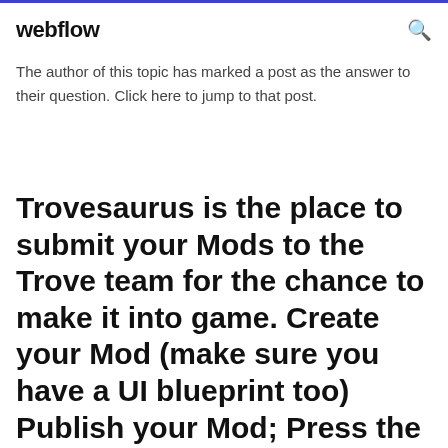webflow
The author of this topic has marked a post as the answer to their question. Click here to jump to that post.
Trovesaurus is the place to submit your Mods to the Trove team for the chance to make it into game. Create your Mod (make sure you have a UI blueprint too) Publish your Mod; Press the Submit Mod button at the top of your mods page; Rewards - If you have a mod